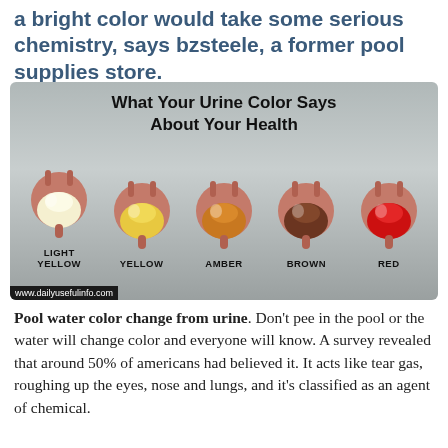a bright color would take some serious chemistry, says bzsteele, a former pool supplies store.
[Figure (infographic): Infographic titled 'What Your Urine Color Says About Your Health' showing five bladder illustrations with colors: Light Yellow, Yellow, Amber, Brown, Red. Source: www.dailyusefulinfo.com]
Pool water color change from urine. Don't pee in the pool or the water will change color and everyone will know. A survey revealed that around 50% of americans had believed it. It acts like tear gas, roughing up the eyes, nose and lungs, and it's classified as an agent of chemical.